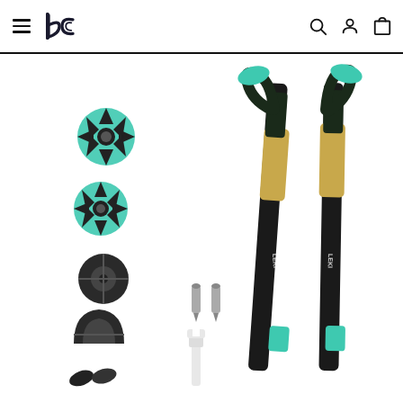Navigation bar with hamburger menu, BC logo, search, account, and cart icons
[Figure (photo): Product photo showing a pair of black and teal trekking/ski poles with cork grips and wrist straps, alongside various accessory baskets (teal starburst-shaped and black round baskets), black rubber tips, two silver pole tips, and a white wrench tool. All items are laid out on a white background.]